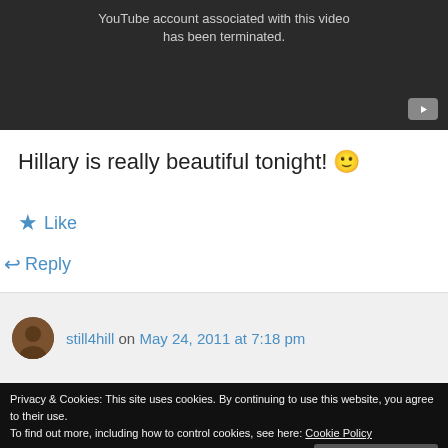[Figure (screenshot): YouTube video player showing terminated account message with dark background and YouTube logo button]
Hillary is really beautiful tonight! 🙂
★ Like
↩ Reply
still4hill on May 24, 2011 at 7:18 pm
Privacy & Cookies: This site uses cookies. By continuing to use this website, you agree to their use. To find out more, including how to control cookies, see here: Cookie Policy